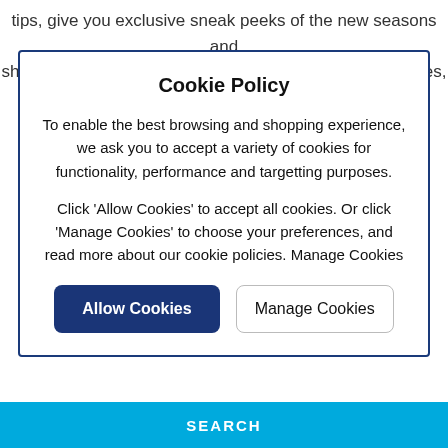tips, give you exclusive sneak peeks of the new seasons and share our readers very own hot picks! So if you love shoes,
Cookie Policy
To enable the best browsing and shopping experience, we ask you to accept a variety of cookies for functionality, performance and targetting purposes.
Click 'Allow Cookies' to accept all cookies. Or click 'Manage Cookies' to choose your preferences, and read more about our cookie policies. Manage Cookies
Allow Cookies
Manage Cookies
SEARCH